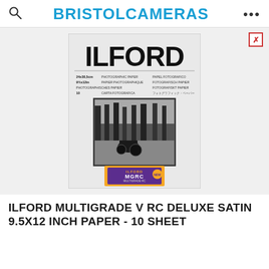BRISTOL CAMERAS
[Figure (photo): Product photo of Ilford Multigrade V RC Deluxe photographic paper box (24x30.5cm / 9.5x12in, 10 sheets), showing the brand name ILFORD in large black letters, multilingual paper descriptions, a black and white landscape photograph on the box front, and an Ilford MGRC Multigrade RC Deluxe packet overlaid at the bottom.]
ILFORD MULTIGRADE V RC DELUXE SATIN 9.5X12 INCH PAPER - 10 SHEET